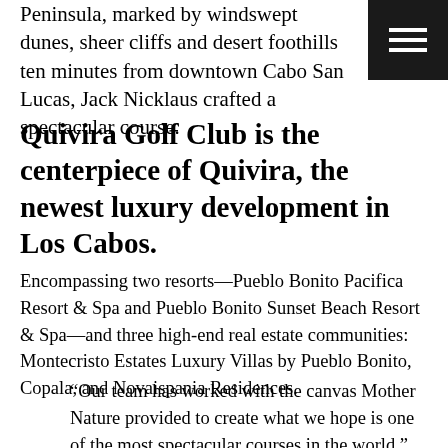Peninsula, marked by windswept dunes, sheer cliffs and desert foothills ten minutes from downtown Cabo San Lucas, Jack Nicklaus crafted a spectacular course.
[Figure (other): Dark menu/hamburger button icon in top right corner]
Quivira Golf Club is the centerpiece of Quivira, the newest luxury development in Los Cabos.
Encompassing two resorts—Pueblo Bonito Pacifica Resort & Spa and Pueblo Bonito Sunset Beach Resort & Spa—and three high-end real estate communities:  Montecristo Estates Luxury Villas by Pueblo Bonito, Copala, and Novaispania Residences.
“Our team has worked with the canvas Mother Nature provided to create what we hope is one of the most spectacular courses in the world,” Nicklaus said of Nicklaus Design’s sixth course in Los Cabos. “This property afforded